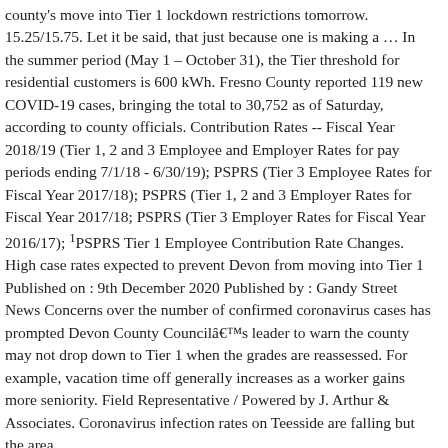county's move into Tier 1 lockdown restrictions tomorrow. 15.25/15.75. Let it be said, that just because one is making a … In the summer period (May 1 – October 31), the Tier threshold for residential customers is 600 kWh. Fresno County reported 119 new COVID-19 cases, bringing the total to 30,752 as of Saturday, according to county officials. Contribution Rates -- Fiscal Year 2018/19 (Tier 1, 2 and 3 Employee and Employer Rates for pay periods ending 7/1/18 - 6/30/19); PSPRS (Tier 3 Employee Rates for Fiscal Year 2017/18); PSPRS (Tier 1, 2 and 3 Employer Rates for Fiscal Year 2017/18; PSPRS (Tier 3 Employer Rates for Fiscal Year 2016/17); ¹PSPRS Tier 1 Employee Contribution Rate Changes. High case rates expected to prevent Devon from moving into Tier 1 Published on : 9th December 2020 Published by : Gandy Street News Concerns over the number of confirmed coronavirus cases has prompted Devon County Councilâs leader to warn the county may not drop down to Tier 1 when the grades are reassessed. For example, vacation time off generally increases as a worker gains more seniority. Field Representative / Powered by J. Arthur & Associates. Coronavirus infection rates on Teesside are falling but the area